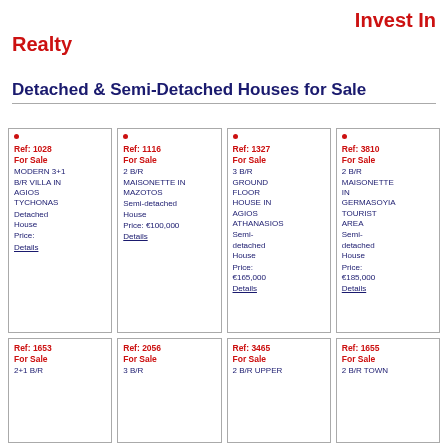Invest In Realty
Detached & Semi-Detached Houses for Sale
Ref: 1028
For Sale
MODERN 3+1 B/R VILLA IN AGIOS TYCHONAS
Detached House
Price:
Details
Ref: 1116
For Sale
2 B/R MAISONETTE IN MAZOTOS
Semi-detached House
Price: €100,000
Details
Ref: 1327
For Sale
3 B/R GROUND FLOOR HOUSE IN AGIOS ATHANASIOS
Semi-detached House
Price: €165,000
Details
Ref: 3810
For Sale
2 B/R MAISONETTE IN GERMASOYIA TOURIST AREA
Semi-detached House
Price: €185,000
Details
Ref: 1653
For Sale
2+1 B/R
Ref: 2056
For Sale
3 B/R
Ref: 3465
For Sale
2 B/R UPPER
Ref: 1655
For Sale
2 B/R TOWN